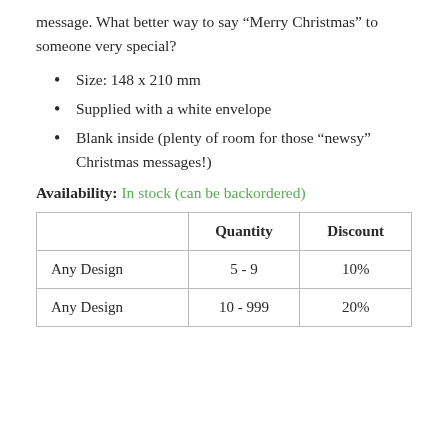message. What better way to say “Merry Christmas” to someone very special?
Size: 148 x 210 mm
Supplied with a white envelope
Blank inside (plenty of room for those “newsy” Christmas messages!)
Availability: In stock (can be backordered)
|  | Quantity | Discount |
| --- | --- | --- |
| Any Design | 5 - 9 | 10% |
| Any Design | 10 - 999 | 20% |